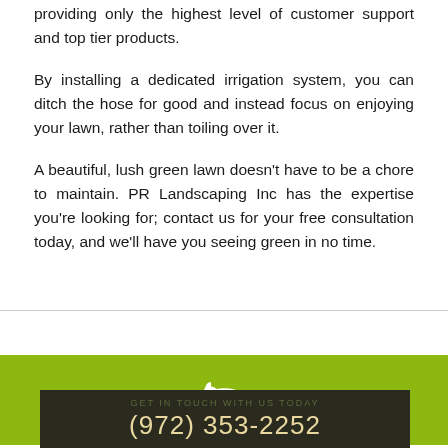providing only the highest level of customer support and top tier products.
By installing a dedicated irrigation system, you can ditch the hose for good and instead focus on enjoying your lawn, rather than toiling over it.
A beautiful, lush green lawn doesn’t have to be a chore to maintain. PR Landscaping Inc has the expertise you’re looking for; contact us for your free consultation today, and we’ll have you seeing green in no time.
[Figure (other): Green banner with white phone icon]
GET IN TOUCH WITH US TODAY
(972) 353-2252